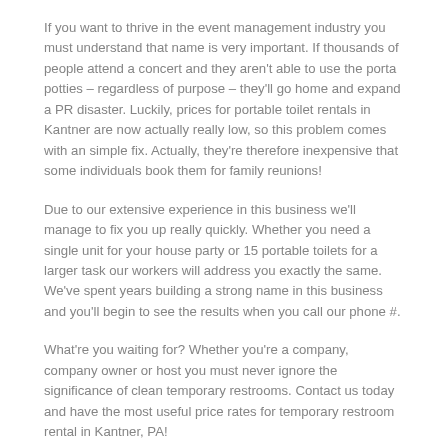If you want to thrive in the event management industry you must understand that name is very important. If thousands of people attend a concert and they aren't able to use the porta potties – regardless of purpose – they'll go home and expand a PR disaster. Luckily, prices for portable toilet rentals in Kantner are now actually really low, so this problem comes with an simple fix. Actually, they're therefore inexpensive that some individuals book them for family reunions!
Due to our extensive experience in this business we'll manage to fix you up really quickly. Whether you need a single unit for your house party or 15 portable toilets for a larger task our workers will address you exactly the same. We've spent years building a strong name in this business and you'll begin to see the results when you call our phone #.
What're you waiting for? Whether you're a company, company owner or host you must never ignore the significance of clean temporary restrooms. Contact us today and have the most useful price rates for temporary restroom rental in Kantner, PA!